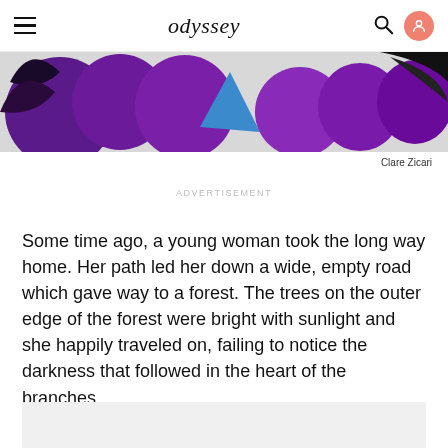odyssey
[Figure (photo): Partial view of a purple and blue illustrated character or costume against a light background with dark elements]
Clare Zicari
ADVERTISEMENT
Some time ago, a young woman took the long way home. Her path led her down a wide, empty road which gave way to a forest. The trees on the outer edge of the forest were bright with sunlight and she happily traveled on, failing to notice the darkness that followed in the heart of the branches.
[Figure (other): Advertisement block (light gray rectangle)]